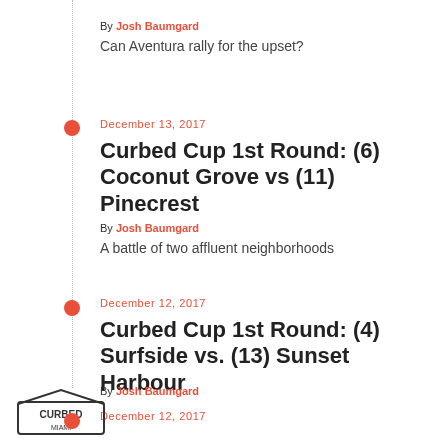By Josh Baumgard
Can Aventura rally for the upset?
December 13, 2017
Curbed Cup 1st Round: (6) Coconut Grove vs (11) Pinecrest
By Josh Baumgard
A battle of two affluent neighborhoods
December 12, 2017
Curbed Cup 1st Round: (4) Surfside vs. (13) Sunset Harbour
By Josh Baumgard
December 12, 2017
[Figure (logo): Curbed Miami logo]